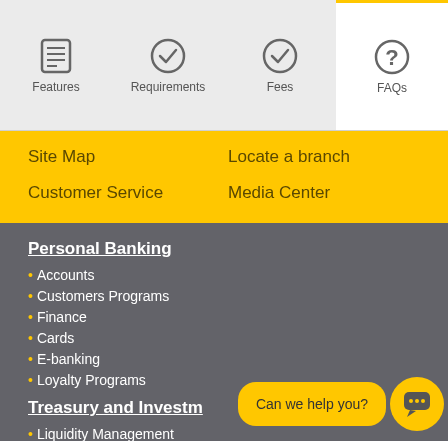Features | Requirements | Fees | FAQs
Site Map
Locate a branch
Customer Service
Media Center
Personal Banking
Accounts
Customers Programs
Finance
Cards
E-banking
Loyalty Programs
Treasury and Investments
Liquidity Management
Foreign Exchange
Can we help you?